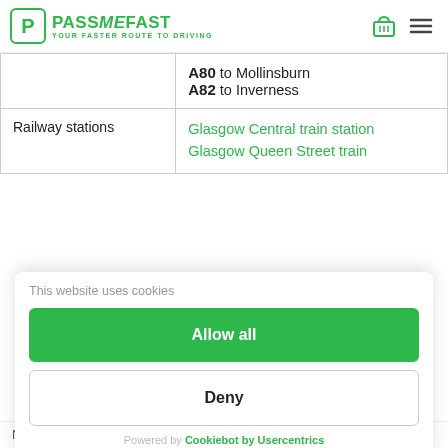[Figure (logo): PassMeFast logo with green P icon and tagline YOUR FASTER ROUTE TO DRIVING]
| A80 to Mollinsburn
A82 to Inverness |  |
| Railway stations | Glasgow Central train station
Glasgow Queen Street train |
This website uses cookies
Allow all
Deny
Powered by Cookiebot by Usercentrics
Not sure if you can book with us? We've got the